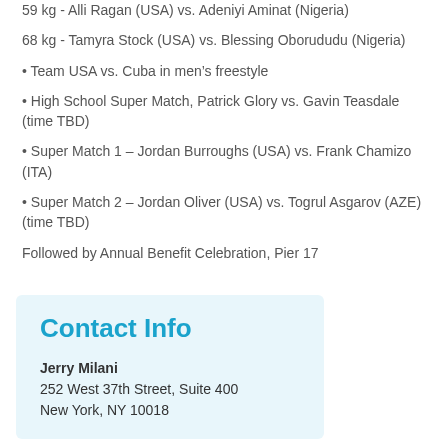59 kg - Alli Ragan (USA) vs. Adeniyi Aminat (Nigeria)
68 kg - Tamyra Stock (USA) vs. Blessing Oborududu (Nigeria)
• Team USA vs. Cuba in men's freestyle
• High School Super Match, Patrick Glory vs. Gavin Teasdale (time TBD)
• Super Match 1 – Jordan Burroughs (USA) vs. Frank Chamizo (ITA)
• Super Match 2 – Jordan Oliver (USA) vs. Togrul Asgarov (AZE) (time TBD)
Followed by Annual Benefit Celebration, Pier 17
Contact Info
Jerry Milani
252 West 37th Street, Suite 400
New York, NY 10018